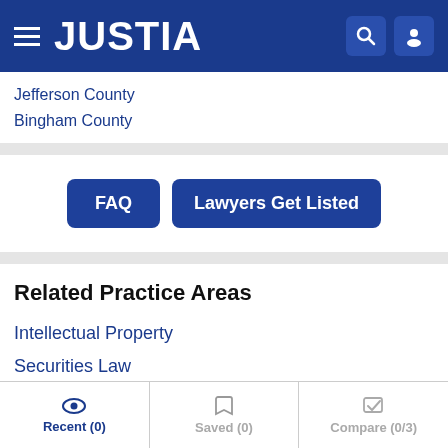JUSTIA
Jefferson County
Bingham County
FAQ  Lawyers Get Listed
Related Practice Areas
Intellectual Property
Securities Law
Tax Law
Recent (0)  Saved (0)  Compare (0/3)